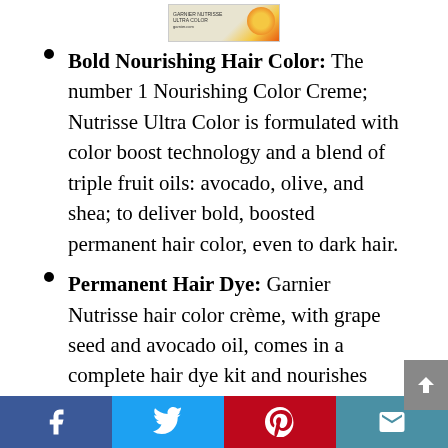[Figure (photo): Product image of Garnier Nutrisse Ultra Color hair color box with sunflower logo]
Bold Nourishing Hair Color: The number 1 Nourishing Color Creme; Nutrisse Ultra Color is formulated with color boost technology and a blend of triple fruit oils: avocado, olive, and shea; to deliver bold, boosted permanent hair color, even to dark hair.
Permanent Hair Dye: Garnier Nutrisse hair color crème, with grape seed and avocado oil, comes in a complete hair dye kit and nourishes while it colors with a rich, non drip creme formula.
Garnier Hair Color: For hair nourishing, easy to use permanent hair dye, temporary